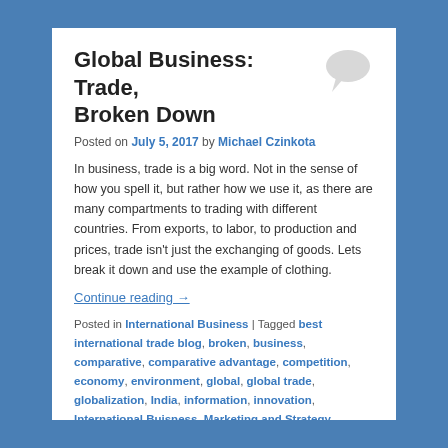Global Business: Trade, Broken Down
Posted on July 5, 2017 by Michael Czinkota
In business, trade is a big word. Not in the sense of how you spell it, but rather how we use it, as there are many compartments to trading with different countries. From exports, to labor, to production and prices, trade isn't just the exchanging of goods. Lets break it down and use the example of clothing.
Continue reading →
Posted in International Business | Tagged best international trade blog, broken, business, comparative, comparative advantage, competition, economy, environment, global, global trade, globalization, India, information, innovation, International Buisness, Marketing and Strategy, markets, Mexico, Michael Czinkota, trade | Leave a reply